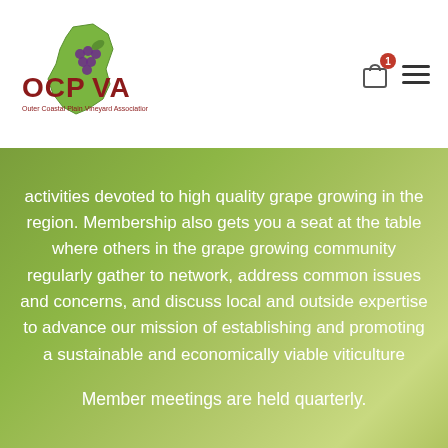[Figure (logo): OCPVA logo with green NJ state outline, grape clusters, and text 'Outer Coastal Plain Vineyard Association']
activities devoted to high quality grape growing in the region. Membership also gets you a seat at the table where others in the grape growing community regularly gather to network, address common issues and concerns, and discuss local and outside expertise to advance our mission of establishing and promoting a sustainable and economically viable viticulture
Member meetings are held quarterly.